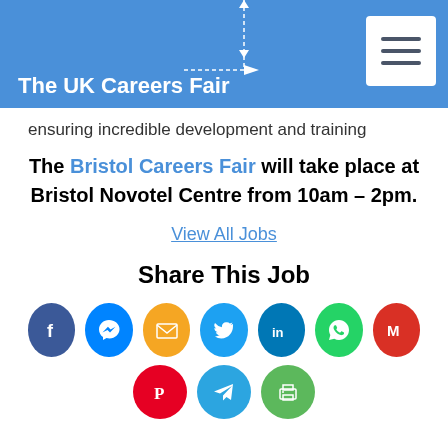The UK Careers Fair
ensuring incredible development and training
The Bristol Careers Fair will take place at Bristol Novotel Centre from 10am – 2pm.
View All Jobs
Share This Job
[Figure (infographic): Social media share buttons: Facebook, Messenger, Email, Twitter, LinkedIn, WhatsApp, Gmail, Pinterest, Telegram, Print]